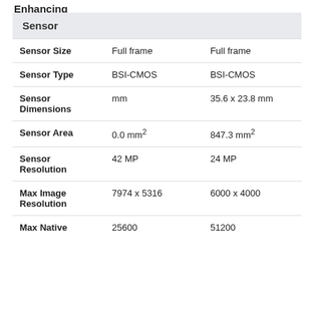Enhancing
|  |  |  |
| --- | --- | --- |
| Sensor Size | Full frame | Full frame |
| Sensor Type | BSI-CMOS | BSI-CMOS |
| Sensor Dimensions | mm | 35.6 x 23.8 mm |
| Sensor Area | 0.0 mm² | 847.3 mm² |
| Sensor Resolution | 42 MP | 24 MP |
| Max Image Resolution | 7974 x 5316 | 6000 x 4000 |
| Max Native | 25600 | 51200 |